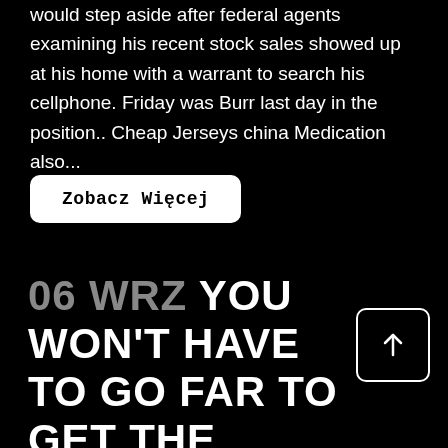would step aside after federal agents examining his recent stock sales showed up at his home with a warrant to search his cellphone. Friday was Burr last day in the position.. Cheap Jerseys china Medication also...
Zobacz Więcej
06 WRZ YOU WON'T HAVE TO GO FAR TO GET THE EDUCATION